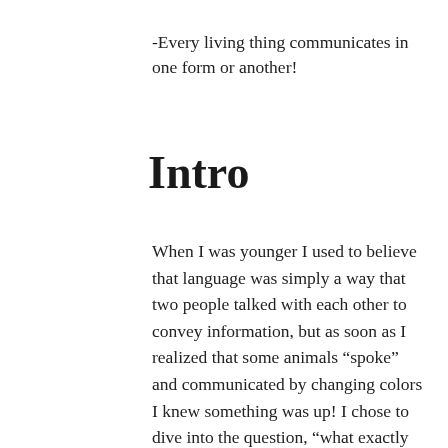-Every living thing communicates in one form or another!
Intro
When I was younger I used to believe that language was simply a way that two people talked with each other to convey information, but as soon as I realized that some animals “spoke” and communicated by changing colors I knew something was up! I chose to dive into the question, “what exactly is language?” and go as far as I possibly